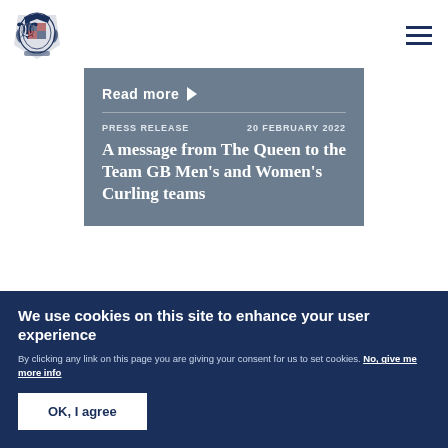[Figure (logo): UK Royal coat of arms logo in dark blue]
Read more ▶
PRESS RELEASE    20 FEBRUARY 2022
A message from The Queen to the Team GB Men's and Women's Curling teams
We use cookies on this site to enhance your user experience
By clicking any link on this page you are giving your consent for us to set cookies. No, give me more info
OK, I agree